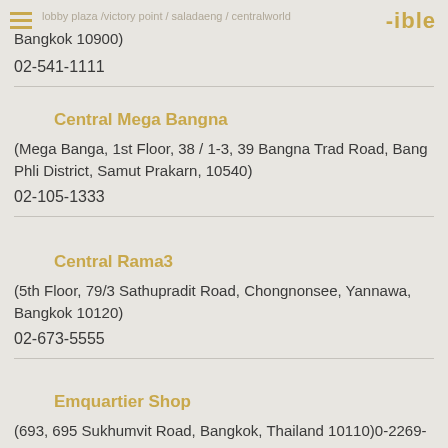ible
Bangkok 10900)
02-541-1111
Central Mega Bangna
(Mega Banga, 1st Floor, 38 / 1-3, 39 Bangna Trad Road, Bang Phli District, Samut Prakarn, 10540)
02-105-1333
Central Rama3
(5th Floor, 79/3 Sathupradit Road, Chongnonsee, Yannawa, Bangkok 10120)
02-673-5555
Emquartier Shop
(693, 695 Sukhumvit Road, Bangkok, Thailand 10110)0-2269-1000